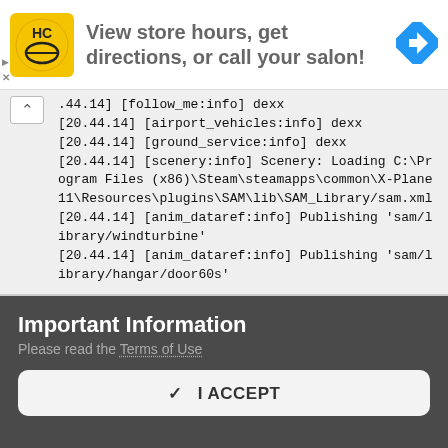[Figure (logo): Ad banner: HC salon logo with text 'View store hours, get directions, or call your salon!' and a blue navigation arrow icon]
[.44.14] [follow_me:info] dexx
[20.44.14] [airport_vehicles:info] dexx
[20.44.14] [ground_service:info] dexx
[20.44.14] [scenery:info] Scenery: Loading C:\Program Files (x86)\Steam\steamapps\common\X-Plane 11\Resources\plugins\SAM\lib\SAM_Library/sam.xml
[20.44.14] [anim_dataref:info] Publishing 'sam/library/windturbine'
[20.44.14] [anim_dataref:info] Publishing 'sam/library/hangar/door60s'
Important Information
Please read the Terms of Use
✓  I ACCEPT